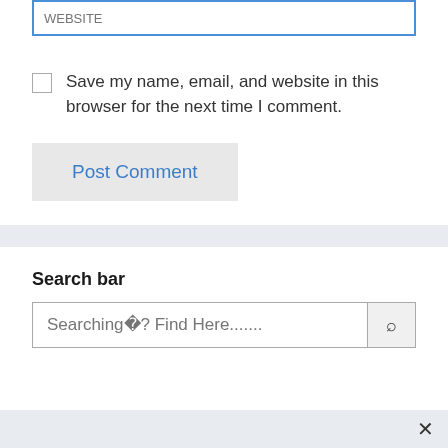[Figure (screenshot): Website text input field with blue border, partially showing label text at top]
Save my name, email, and website in this browser for the next time I comment.
Post Comment
Search bar
[Figure (screenshot): Search input field with placeholder text 'Searching? Find Here.......' and a search icon button on the right]